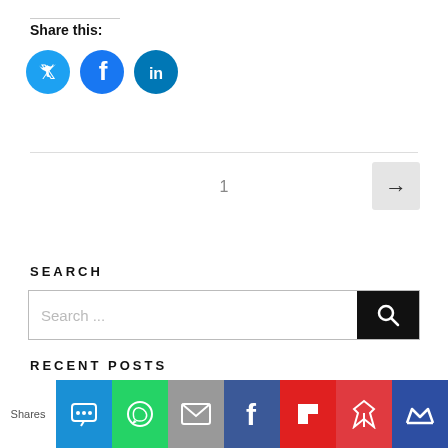Share this:
[Figure (infographic): Three circular share icons: Twitter (cyan), Facebook (blue), LinkedIn (dark blue)]
1
[Figure (infographic): Next page arrow button (right arrow on light gray background)]
SEARCH
[Figure (infographic): Search bar with placeholder text 'Search ...' and black search button with magnifying glass icon]
RECENT POSTS
[Figure (infographic): Bottom social sharing bar with SMS, WhatsApp, Email, Facebook, Flipboard, Pinterest, and Crown icons. Shows 'Shares' label on left.]